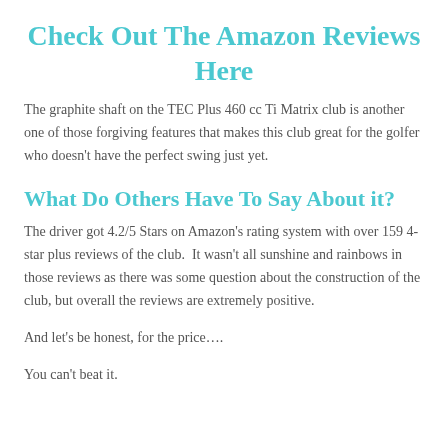Check Out The Amazon Reviews Here
The graphite shaft on the TEC Plus 460 cc Ti Matrix club is another one of those forgiving features that makes this club great for the golfer who doesn’t have the perfect swing just yet.
What Do Others Have To Say About it?
The driver got 4.2/5 Stars on Amazon’s rating system with over 159 4-star plus reviews of the club.  It wasn’t all sunshine and rainbows in those reviews as there was some question about the construction of the club, but overall the reviews are extremely positive.
And let’s be honest, for the price….
You can’t beat it.